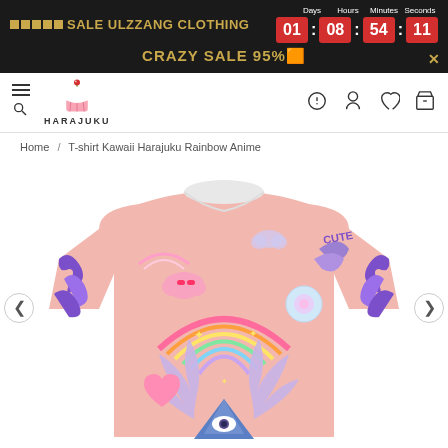🟧🟧🟧🟧🟧 SALE ULZZANG CLOTHING  Days 01 : Hours 08 : Minutes 54 : Seconds 11  CRAZY SALE 95%🟧
[Figure (logo): Harajuku cupcake logo with text HARAJUKU]
Home / T-shirt Kawaii Harajuku Rainbow Anime
[Figure (photo): Pink kawaii anime-print T-shirt with rainbow, clouds, angel wings, and mystical eye motifs on a pastel pink background, shown on no visible model, with navigation arrows on left and right sides.]